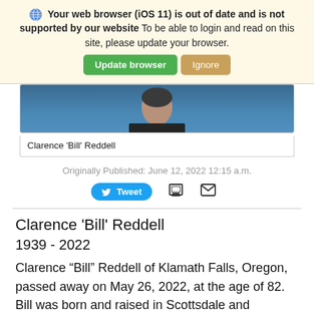🌐 Your web browser (iOS 11) is out of date and is not supported by our website To be able to login and read on this site, please update your browser. [Update browser] [Ignore]
[Figure (photo): Partial headshot photo of Clarence 'Bill' Reddell showing upper body in dark jacket against blue background]
Clarence 'Bill' Reddell
Originally Published: June 12, 2022 12:15 a.m.
Tweet  [print icon]  [email icon]
Clarence ‘Bill’ Reddell
1939 - 2022
Clarence “Bill” Reddell of Klamath Falls, Oregon, passed away on May 26, 2022, at the age of 82. Bill was born and raised in Scottsdale and Phoenix